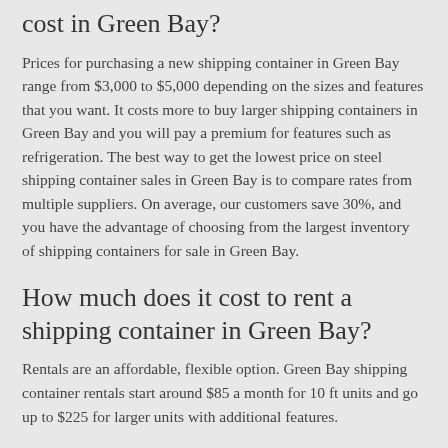cost in Green Bay?
Prices for purchasing a new shipping container in Green Bay range from $3,000 to $5,000 depending on the sizes and features that you want. It costs more to buy larger shipping containers in Green Bay and you will pay a premium for features such as refrigeration. The best way to get the lowest price on steel shipping container sales in Green Bay is to compare rates from multiple suppliers. On average, our customers save 30%, and you have the advantage of choosing from the largest inventory of shipping containers for sale in Green Bay.
How much does it cost to rent a shipping container in Green Bay?
Rentals are an affordable, flexible option. Green Bay shipping container rentals start around $85 a month for 10 ft units and go up to $225 for larger units with additional features.
Can I buy a used shipping container in Green Bay?
Yes, purchasing a used shipping container in Green Bay is a great way to save hundreds and often times even thousands of dollars. When shopping around, you should be aware of a few